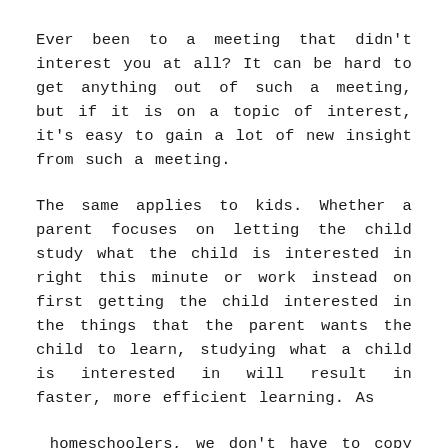Ever been to a meeting that didn't interest you at all? It can be hard to get anything out of such a meeting, but if it is on a topic of interest, it's easy to gain a lot of new insight from such a meeting.
The same applies to kids. Whether a parent focuses on letting the child study what the child is interested in right this minute or work instead on first getting the child interested in the things that the parent wants the child to learn, studying what a child is interested in will result in faster, more efficient learning. As
homeschoolers, we don't have to copy the schools' method of having a schedule of lessons that we can't veer from. We can